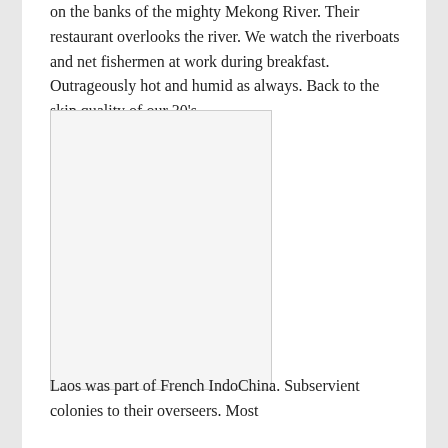on the banks of the mighty Mekong River. Their restaurant overlooks the river. We watch the riverboats and net fishermen at work during breakfast. Outrageously hot and humid as always. Back to the skin quality of our 30's.
[Figure (photo): A white/blank rectangular photo placeholder with a light border, portrait orientation]
Laos was part of French IndoChina. Subservient colonies to their overseers. Most